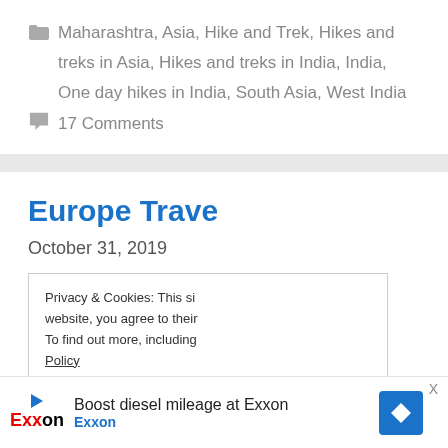Maharashtra, Asia, Hike and Trek, Hikes and treks in Asia, Hikes and treks in India, India, One day hikes in India, South Asia, West India
17 Comments
Europe Trave...
October 31, 2019
Privacy & Cookies: This si... website, you agree to their... To find out more, including... Policy
[Figure (other): Exxon advertisement banner: Boost diesel mileage at Exxon]